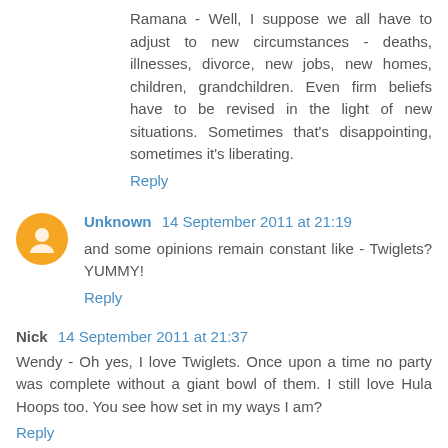Ramana - Well, I suppose we all have to adjust to new circumstances - deaths, illnesses, divorce, new jobs, new homes, children, grandchildren. Even firm beliefs have to be revised in the light of new situations. Sometimes that's disappointing, sometimes it's liberating.
Reply
Unknown 14 September 2011 at 21:19
and some opinions remain constant like - Twiglets? YUMMY!
Reply
Nick 14 September 2011 at 21:37
Wendy - Oh yes, I love Twiglets. Once upon a time no party was complete without a giant bowl of them. I still love Hula Hoops too. You see how set in my ways I am?
Reply